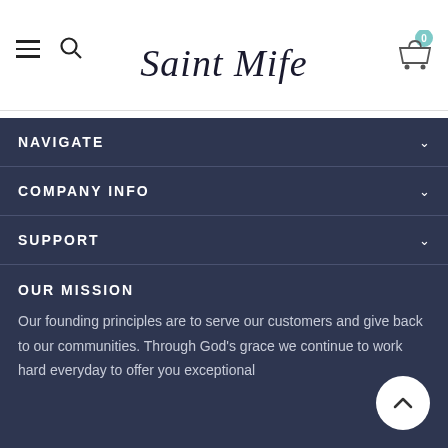Saint Wife — website header with navigation menu icon, search icon, logo, and cart icon showing 0 items
NAVIGATE
COMPANY INFO
SUPPORT
OUR MISSION
Our founding principles are to serve our customers and give back to our communities. Through God's grace we continue to work hard everyday to offer you exceptional